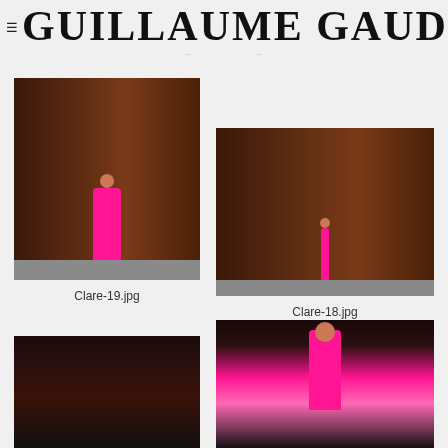GUILLAUME GAUDET
[Figure (photo): Woman in pink coat and skirt standing against dark brown wall panel, full body shot close up]
Clare-19.jpg
[Figure (photo): Woman in pink coat and skirt standing far from camera against dark brown wall panel, wider shot]
Clare-18.jpg
[Figure (photo): Partial view of photo, woman in pink against dark background]
[Figure (photo): Partial view of photo at bottom, dark background]